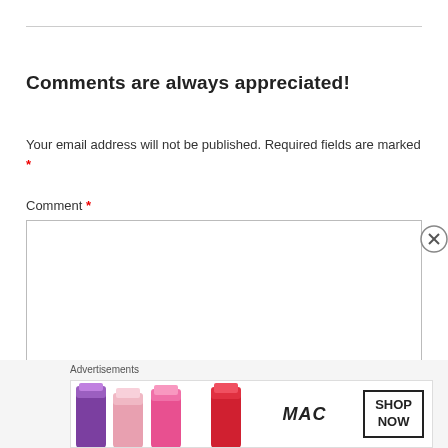Comments are always appreciated!
Your email address will not be published. Required fields are marked *
Comment *
[Figure (screenshot): Empty comment text area input field with resize handle in bottom-right corner]
[Figure (screenshot): MAC Cosmetics advertisement banner showing lipsticks in purple, pink, and red colors with MAC logo and SHOP NOW button]
Advertisements